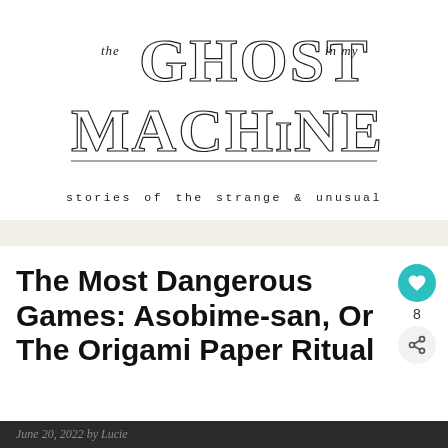[Figure (logo): The Ghost in My Machine blog logo — decorative gothic/horror lettering spelling 'the GHOST in my MACHINE' with ornate, distressed typeface]
stories of the strange & unusual
The Most Dangerous Games: Asobime-san, Or The Origami Paper Ritual
June 20, 2022 by Lucie